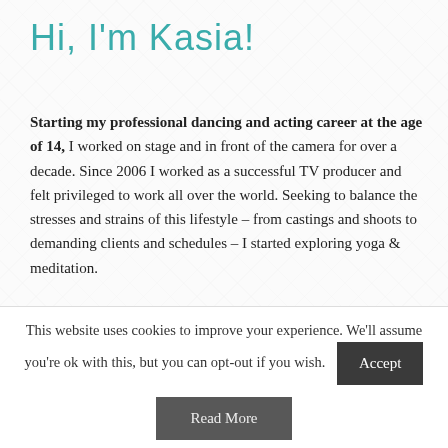Hi, I'm Kasia!
Starting my professional dancing and acting career at the age of 14, I worked on stage and in front of the camera for over a decade. Since 2006 I worked as a successful TV producer and felt privileged to work all over the world. Seeking to balance the stresses and strains of this lifestyle – from castings and shoots to demanding clients and schedules – I started exploring yoga & meditation.
I've always been inspired by the mind-body connection and the power we have over our own lives. I founded
This website uses cookies to improve your experience. We'll assume you're ok with this, but you can opt-out if you wish.
Accept
Read More